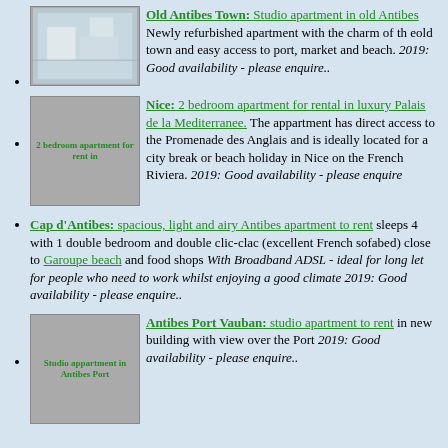Old Antibes Town: Studio apartment in old Antibes Newly refurbished apartment with the charm of th eold town and easy access to port, market and beach. 2019: Good availability - please enquire..
Nice: 2 bedroom apartment for rental in luxury Palais de la Mediterranee. The appartment has direct access to the Promenade des Anglais and is ideally located for a city break or beach holiday in Nice on the French Riviera. 2019: Good availability - please enquire
Cap d'Antibes: spacious, light and airy Antibes apartment to rent sleeps 4 with 1 double bedroom and double clic-clac (excellent French sofabed) close to Garoupe beach and food shops With Broadband ADSL - ideal for long let for people who need to work whilst enjoying a good climate 2019: Good availability - please enquire..
Antibes Port Vauban: studio apartment to rent in new building with view over the Port 2019: Good availability - please enquire..